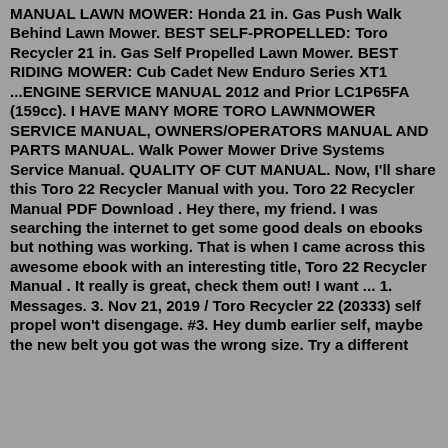MANUAL LAWN MOWER: Honda 21 in. Gas Push Walk Behind Lawn Mower. BEST SELF-PROPELLED: Toro Recycler 21 in. Gas Self Propelled Lawn Mower. BEST RIDING MOWER: Cub Cadet New Enduro Series XT1 ...ENGINE SERVICE MANUAL 2012 and Prior LC1P65FA (159cc). I HAVE MANY MORE TORO LAWNMOWER SERVICE MANUAL, OWNERS/OPERATORS MANUAL AND PARTS MANUAL. Walk Power Mower Drive Systems Service Manual. QUALITY OF CUT MANUAL. Now, I'll share this Toro 22 Recycler Manual with you. Toro 22 Recycler Manual PDF Download . Hey there, my friend. I was searching the internet to get some good deals on ebooks but nothing was working. That is when I came across this awesome ebook with an interesting title, Toro 22 Recycler Manual . It really is great, check them out! I want ... 1. Messages. 3. Nov 21, 2019 / Toro Recycler 22 (20333) self propel won't disengage. #3. Hey dumb earlier self, maybe the new belt you got was the wrong size. Try a different